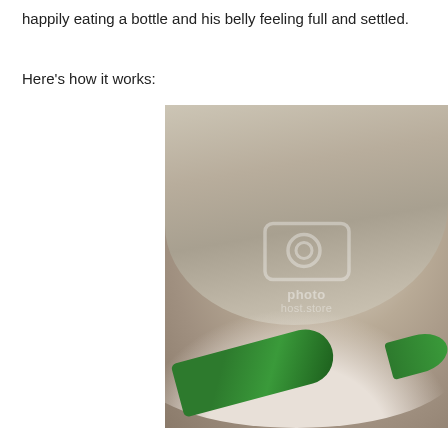happily eating a bottle and his belly feeling full and settled.
Here's how it works:
[Figure (photo): A close-up photo of a white bowl filled with powdered formula or similar dry powder, with a green scoop/measuring spoon resting inside. The image has a Photobucket watermark overlay in the center.]